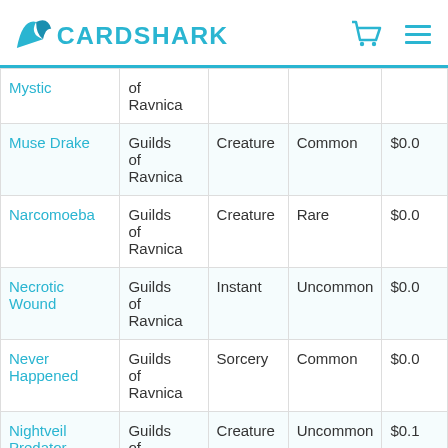CARDSHARK
| Name | Set | Type | Rarity | Price |
| --- | --- | --- | --- | --- |
| Mystic | Guilds of Ravnica |  |  |  |
| Muse Drake | Guilds of Ravnica | Creature | Common | $0.0 |
| Narcomoeba | Guilds of Ravnica | Creature | Rare | $0.0 |
| Necrotic Wound | Guilds of Ravnica | Instant | Uncommon | $0.0 |
| Never Happened | Guilds of Ravnica | Sorcery | Common | $0.0 |
| Nightveil Predator | Guilds of Ravnica | Creature | Uncommon | $0.1 |